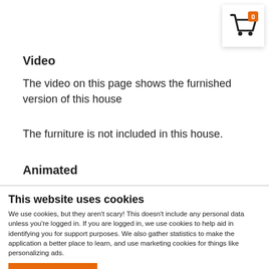[Figure (illustration): Shopping cart icon with orange badge showing '0' in top-right corner]
Video
The video on this page shows the furnished version of this house
The furniture is not included in this house.
Animated
This website uses cookies
We use cookies, but they aren't scary! This doesn't include any personal data unless you're logged in. If you are logged in, we use cookies to help aid in identifying you for support purposes. We also gather statistics to make the application a better place to learn, and use marketing cookies for things like personalizing ads.
OK
Settings